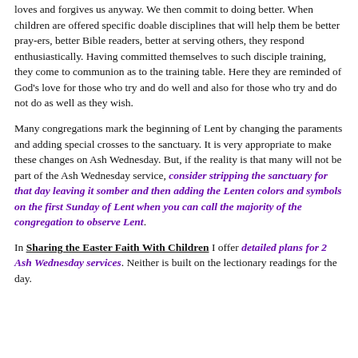loves and forgives us anyway.  We then commit to doing better. When children are offered specific doable disciplines that will help them be better pray-ers, better Bible readers, better at serving others, they respond enthusiastically.  Having committed themselves to such disciple training, they come to communion as to the training table.  Here they are reminded of God's love for those who try and do well  and also for those who try and do not do as well as they wish.
Many congregations mark the beginning of Lent by changing the paraments and adding special crosses to the sanctuary.  It is very appropriate to make these changes on Ash Wednesday.  But, if the reality is that many will not be part of the Ash Wednesday service, consider stripping the sanctuary for that day leaving it somber and then adding the Lenten colors and symbols  on the first Sunday of Lent when you can call the majority of the congregation to observe Lent.
In Sharing the Easter Faith With Children I offer detailed plans for 2 Ash Wednesday services.   Neither is built on the lectionary readings for the day.